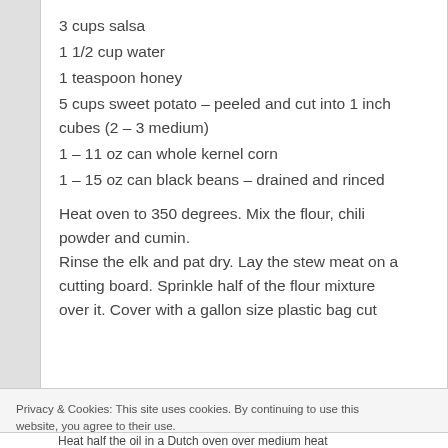3 cups salsa
1 1/2 cup water
1 teaspoon honey
5 cups sweet potato – peeled and cut into 1 inch cubes (2 – 3 medium)
1 – 11 oz can whole kernel corn
1 – 15 oz can black beans – drained and rinced
Heat oven to 350 degrees. Mix the flour, chili powder and cumin.
Rinse the elk and pat dry. Lay the stew meat on a cutting board. Sprinkle half of the flour mixture over it. Cover with a gallon size plastic bag cut
Privacy & Cookies: This site uses cookies. By continuing to use this website, you agree to their use.
To find out more, including how to control cookies, see here: Cookie Policy
Close and accept
Heat half the oil in a Dutch oven over medium heat